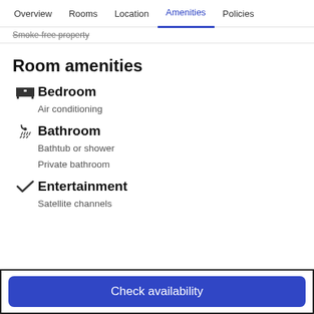Overview  Rooms  Location  Amenities  Policies
Smoke-free property
Room amenities
Bedroom
Air conditioning
Bathroom
Bathtub or shower
Private bathroom
Entertainment
Satellite channels
Check availability